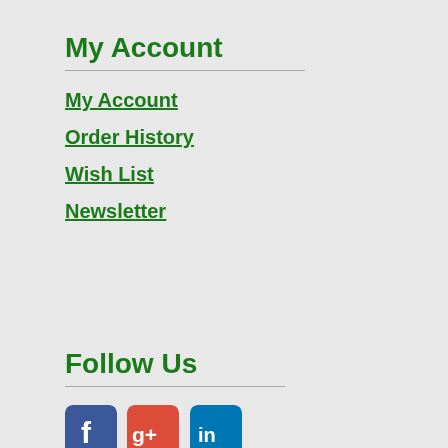My Account
My Account
Order History
Wish List
Newsletter
Follow Us
[Figure (logo): Social media icons: Facebook (blue square with f), Google+ (red square with g+), LinkedIn (blue square with in)]